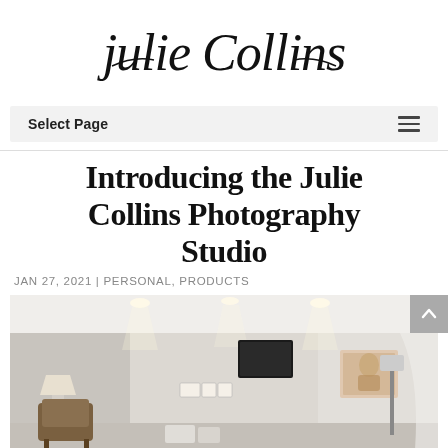[Figure (logo): Julie Collins handwritten cursive script logo]
Select Page
Introducing the Julie Collins Photography Studio
JAN 27, 2021 | PERSONAL, PRODUCTS
[Figure (photo): Interior of the Julie Collins Photography Studio showing a bright room with recessed lighting, furniture, wall art including framed photos and a canvas portrait, and photography equipment.]